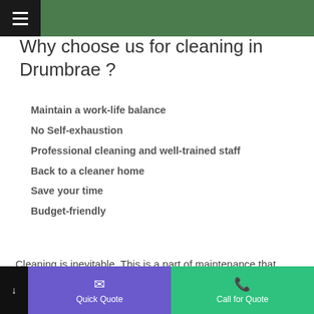≡
Why choose us for cleaning in Drumbrae ?
Maintain a work-life balance
No Self-exhaustion
Professional cleaning and well-trained staff
Back to a cleaner home
Save your time
Budget-friendly
Cleaning is inevitable. This is a part of maintenance that every homeowner takes seriously. Homes are personalised and they define people who reside inside.
Quick Quote | Call for Quote